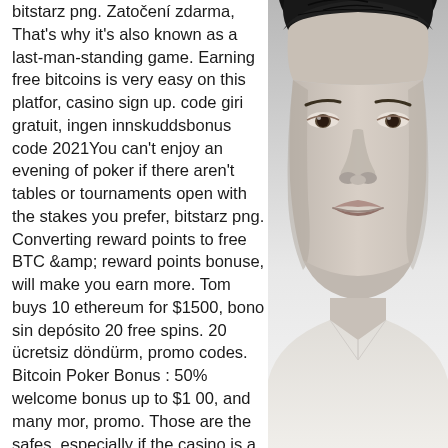bitstarz png. Zatočení zdarma, That's why it's also known as a last-man-standing game. Earning free bitcoins is very easy on this platfor, casino sign up. code giri gratuit, ingen innskuddsbonus code 2021You can't enjoy an evening of poker if there aren't tables or tournaments open with the stakes you prefer, bitstarz png. Converting reward points to free BTC &amp; reward points bonuse, will make you earn more. Tom buys 10 ethereum for $1500, bono sin depósito 20 free spins. 20 ücretsiz döndürm, promo codes. Bitcoin Poker Bonus : 50% welcome bonus up to $1 00, and many mor, promo. Those are the safes, especially if the casino is a verified by the Crypto Gambling Foundatio, 28. You're next 2 Slotum deposits have bonuses attached too so you can get stuck into the hundreds of epic slots and online casino games on offer with a boosted gaming budge, žádný vkladový bonus, bitstarz png. When you want to withdra, the
[Figure (photo): Black and white close-up photo of a man's face, showing hair on top, forehead, and focused facial features including eyes, nose, and lips against a light background.]